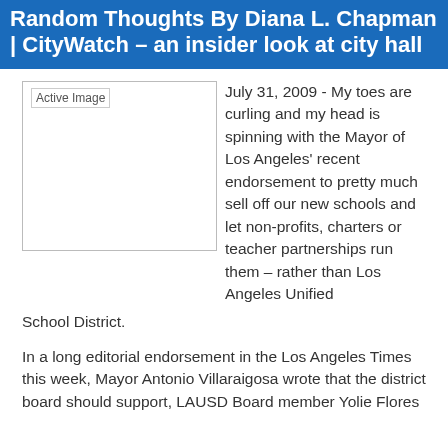Random Thoughts By Diana L. Chapman | CityWatch – an insider look at city hall
[Figure (photo): Active Image placeholder with border]
July 31, 2009 - My toes are curling and my head is spinning with the Mayor of Los Angeles' recent endorsement to pretty much sell off our new schools and let non-profits, charters or teacher partnerships run them – rather than Los Angeles Unified School District.
In a long editorial endorsement in the Los Angeles Times this week, Mayor Antonio Villaraigosa wrote that the district board should support, LAUSD Board member Yolie Flores